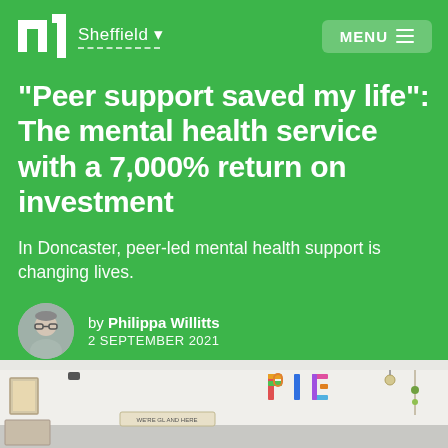nt Sheffield | MENU
“Peer support saved my life”: The mental health service with a 7,000% return on investment
In Doncaster, peer-led mental health support is changing lives.
by Philippa Willitts
2 SEPTEMBER 2021
[Figure (photo): Interior room photo showing decorated letters on a wall, a sign reading 'WE'RE GL AND HERE', and colorful decorations]